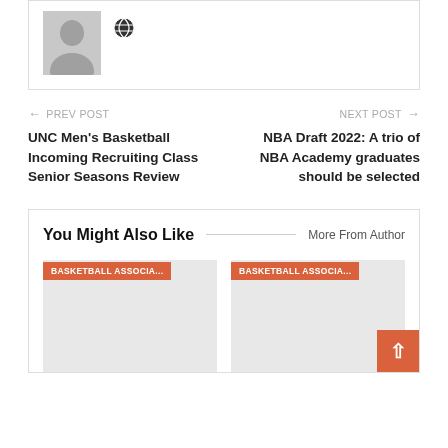[Figure (other): User avatar placeholder (gray silhouette) with a globe icon to the right]
← PREV POST
UNC Men's Basketball Incoming Recruiting Class Senior Seasons Review
NEXT POST →
NBA Draft 2022: A trio of NBA Academy graduates should be selected
You Might Also Like
More From Author
[Figure (other): Article card with orange tag BASKETBALL ASSOCIA...]
[Figure (other): Article card with orange tag BASKETBALL ASSOCIA...]